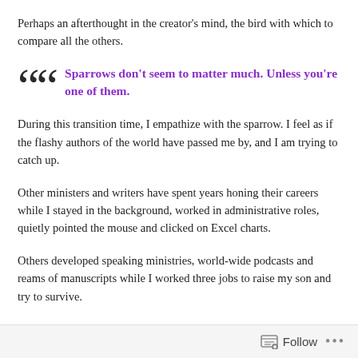Perhaps an afterthought in the creator’s mind, the bird with which to compare all the others.
Sparrows don’t seem to matter much. Unless you’re one of them.
During this transition time, I empathize with the sparrow. I feel as if the flashy authors of the world have passed me by, and I am trying to catch up.
Other ministers and writers have spent years honing their careers while I stayed in the background, worked in administrative roles, quietly pointed the mouse and clicked on Excel charts.
Others developed speaking ministries, world-wide podcasts and reams of manuscripts while I worked three jobs to raise my son and try to survive.
Follow ...